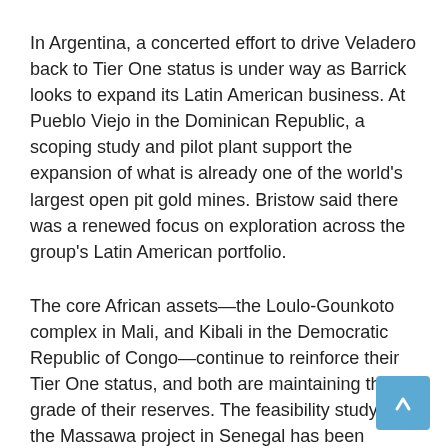In Argentina, a concerted effort to drive Veladero back to Tier One status is under way as Barrick looks to expand its Latin American business. At Pueblo Viejo in the Dominican Republic, a scoping study and pilot plant support the expansion of what is already one of the world's largest open pit gold mines. Bristow said there was a renewed focus on exploration across the group's Latin American portfolio.
The core African assets—the Loulo-Gounkoto complex in Mali, and Kibali in the Democratic Republic of Congo—continue to reinforce their Tier One status, and both are maintaining the grade of their reserves. The feasibility study on the Massawa project in Senegal has been completed, and an application for a mining permit has been submitted to the government.
Bristow said the company was continuing to engage in constructive discussions with the Tanzanian government on